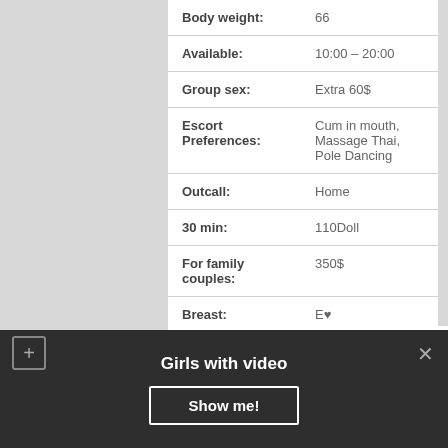| Field | Value |
| --- | --- |
| Body weight: | 66 |
| Available: | 10:00 – 20:00 |
| Group sex: | Extra 60$ |
| Escort Preferences: | Cum in mouth, Massage Thai, Pole Dancing |
| Outcall: | Home |
| 30 min: | 110Doll |
| For family couples: | 350$ |
| Breast: | E♥ |
More photo
Girls with video
Show me!